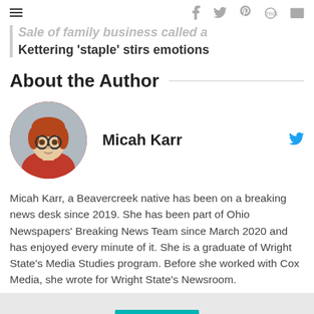Sale of family business called a Kettering 'staple' stirs emotions
About the Author
[Figure (photo): Circular headshot photo of Micah Karr, a young person with red hair and round glasses, wearing a red top, with a blurred outdoor background.]
Micah Karr
Micah Karr, a Beavercreek native has been on a breaking news desk since 2019. She has been part of Ohio Newspapers' Breaking News Team since March 2020 and has enjoyed every minute of it. She is a graduate of Wright State's Media Studies program. Before she worked with Cox Media, she wrote for Wright State's Newsroom.